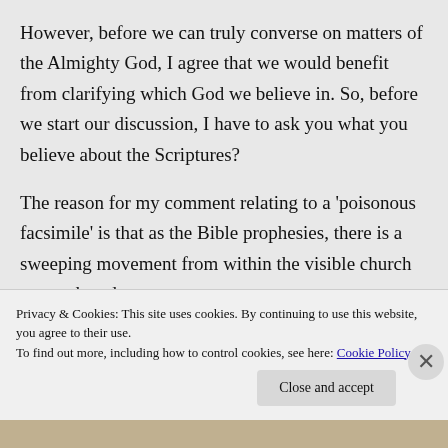However, before we can truly converse on matters of the Almighty God, I agree that we would benefit from clarifying which God we believe in. So, before we start our discussion, I have to ask you what you believe about the Scriptures?
The reason for my comment relating to a 'poisonous facsimile' is that as the Bible prophesies, there is a sweeping movement from within the visible church to attack and
Privacy & Cookies: This site uses cookies. By continuing to use this website, you agree to their use.
To find out more, including how to control cookies, see here: Cookie Policy